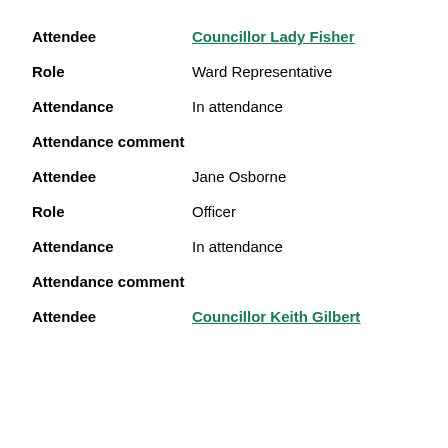Attendee: Councillor Lady Fisher
Role: Ward Representative
Attendance: In attendance
Attendance comment
Attendee: Jane Osborne
Role: Officer
Attendance: In attendance
Attendance comment
Attendee: Councillor Keith Gilbert